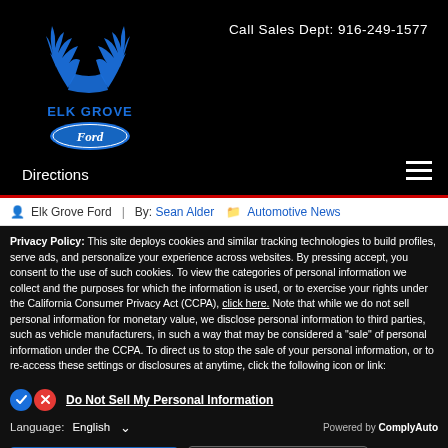[Figure (logo): Elk Grove Ford logo with elk antler graphic above text 'ELK GROVE' and Ford oval badge]
Call Sales Dept: 916-249-1577
Directions
[Figure (other): Hamburger menu icon (three horizontal white lines)]
Elk Grove Ford  |  By: Sean Alder  [folder icon] Automotive News
Privacy Policy: This site deploys cookies and similar tracking technologies to build profiles, serve ads, and personalize your experience across websites. By pressing accept, you consent to the use of such cookies. To view the categories of personal information we collect and the purposes for which the information is used, or to exercise your rights under the California Consumer Privacy Act (CCPA), click here. Note that while we do not sell personal information for monetary value, we disclose personal information to third parties, such as vehicle manufacturers, in such a way that may be considered a "sale" of personal information under the CCPA. To direct us to stop the sale of your personal information, or to re-access these settings or disclosures at anytime, click the following icon or link:
Do Not Sell My Personal Information
Language:  English   ∨   Powered by ComplyAuto
Accept and Continue →   California Privacy Disclosures